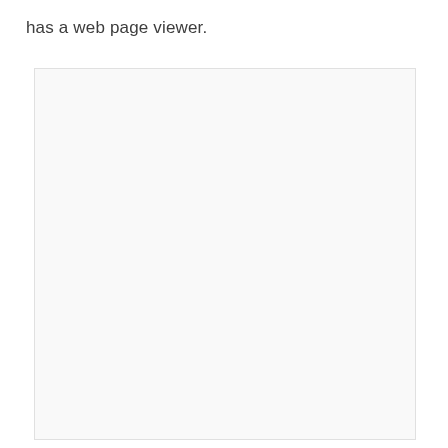has a web page viewer.
[Figure (screenshot): A light gray rectangular placeholder box representing a web page viewer area.]